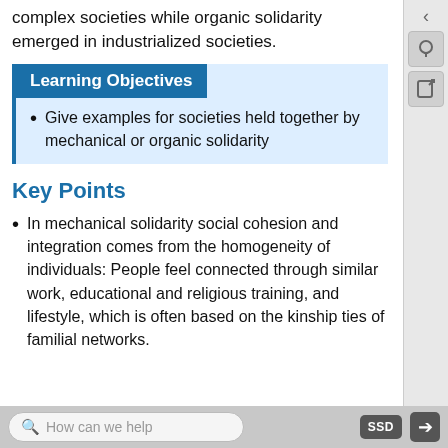complex societies while organic solidarity emerged in industrialized societies.
Learning Objectives
Give examples for societies held together by mechanical or organic solidarity
Key Points
In mechanical solidarity social cohesion and integration comes from the homogeneity of individuals: People feel connected through similar work, educational and religious training, and lifestyle, which is often based on the kinship ties of familial networks.